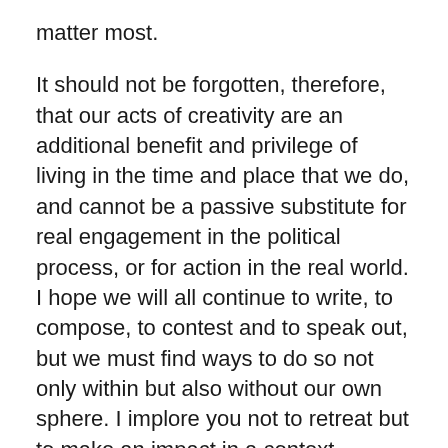matter most.
It should not be forgotten, therefore, that our acts of creativity are an additional benefit and privilege of living in the time and place that we do, and cannot be a passive substitute for real engagement in the political process, or for action in the real world. I hope we will all continue to write, to compose, to contest and to speak out, but we must find ways to do so not only within but also without our own sphere. I implore you not to retreat but to make an impact in a context broader than your own. And, more importantly, I ask that we all not forget our duties as members - although somewhat tenuous, it seems at times - to society proper.